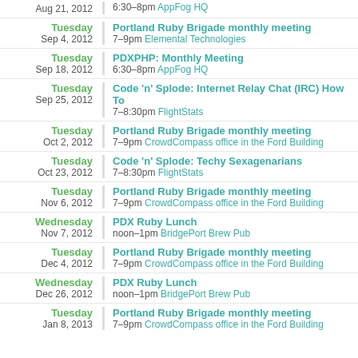Aug 21, 2012 | 6:30–8pm AppFog HQ
Tuesday Sep 4, 2012 | Portland Ruby Brigade monthly meeting | 7–9pm Elemental Technologies
Tuesday Sep 18, 2012 | PDXPHP: Monthly Meeting | 6:30–8pm AppFog HQ
Tuesday Sep 25, 2012 | Code 'n' Splode: Internet Relay Chat (IRC) How To | 7–8:30pm FlightStats
Tuesday Oct 2, 2012 | Portland Ruby Brigade monthly meeting | 7–9pm CrowdCompass office in the Ford Building
Tuesday Oct 23, 2012 | Code 'n' Splode: Techy Sexagenarians | 7–8:30pm FlightStats
Tuesday Nov 6, 2012 | Portland Ruby Brigade monthly meeting | 7–9pm CrowdCompass office in the Ford Building
Wednesday Nov 7, 2012 | PDX Ruby Lunch | noon–1pm BridgePort Brew Pub
Tuesday Dec 4, 2012 | Portland Ruby Brigade monthly meeting | 7–9pm CrowdCompass office in the Ford Building
Wednesday Dec 26, 2012 | PDX Ruby Lunch | noon–1pm BridgePort Brew Pub
Tuesday Jan 8, 2013 | Portland Ruby Brigade monthly meeting | 7–9pm CrowdCompass office in the Ford Building